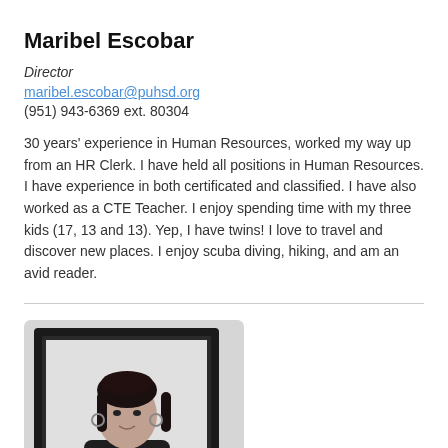Maribel Escobar
Director
maribel.escobar@puhsd.org
(951) 943-6369 ext. 80304
30 years' experience in Human Resources, worked my way up from an HR Clerk. I have held all positions in Human Resources. I have experience in both certificated and classified. I have also worked as a CTE Teacher. I enjoy spending time with my three kids (17, 13 and 13). Yep, I have twins! I love to travel and discover new places. I enjoy scuba diving, hiking, and am an avid reader.
[Figure (photo): Black and white portrait photo of Maribel Escobar holding a picture frame around herself, wearing a dark top with hoop earrings and dark hair pulled back]